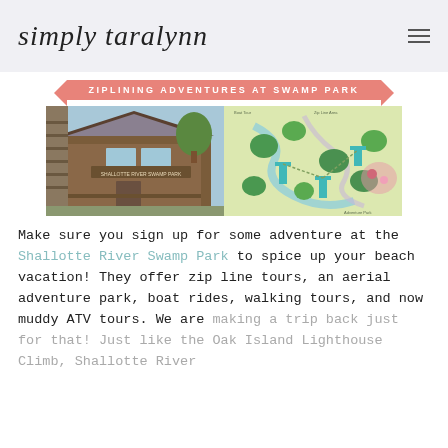simply taralynn
ZIPLINING ADVENTURES AT SWAMP PARK
[Figure (photo): Left: photo of Shallotte River Swamp Park building exterior with observation tower; Right: illustrated park map showing zip lines, trees, and attractions]
Make sure you sign up for some adventure at the Shallotte River Swamp Park to spice up your beach vacation! They offer zip line tours, an aerial adventure park, boat rides, walking tours, and now muddy ATV tours. We are making a trip back just for that! Just like the Oak Island Lighthouse Climb, Shallotte River